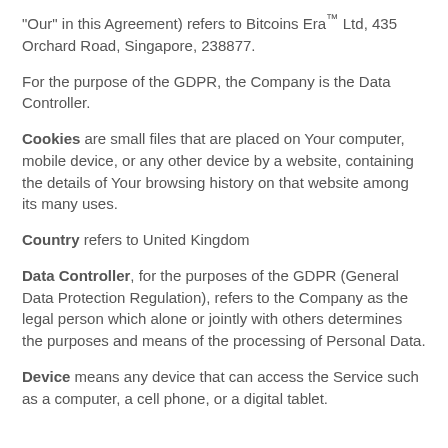“Our” in this Agreement) refers to Bitcoins Era™ Ltd, 435 Orchard Road, Singapore, 238877.
For the purpose of the GDPR, the Company is the Data Controller.
Cookies are small files that are placed on Your computer, mobile device, or any other device by a website, containing the details of Your browsing history on that website among its many uses.
Country refers to United Kingdom
Data Controller, for the purposes of the GDPR (General Data Protection Regulation), refers to the Company as the legal person which alone or jointly with others determines the purposes and means of the processing of Personal Data.
Device means any device that can access the Service such as a computer, a cell phone, or a digital tablet.